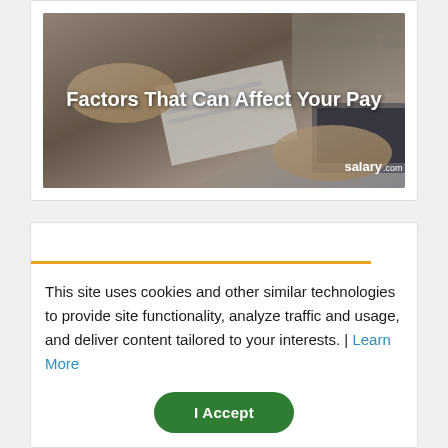[Figure (photo): A person handing a check/paycheck to another person, with a laptop and brick wall in the background. Text overlay reads 'Factors That Can Affect Your Pay' and 'salary.com' logo in bottom right.]
This site uses cookies and other similar technologies to provide site functionality, analyze traffic and usage, and deliver content tailored to your interests. | Learn More
I Accept